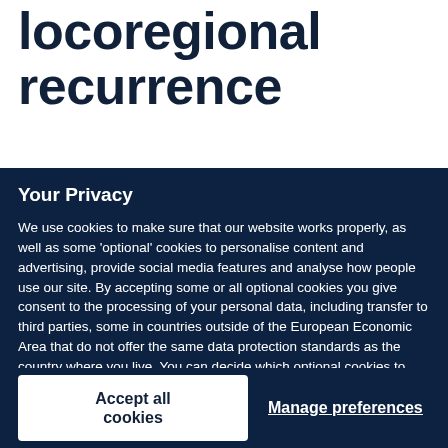locoregional recurrence
Your Privacy
We use cookies to make sure that our website works properly, as well as some 'optional' cookies to personalise content and advertising, provide social media features and analyse how people use our site. By accepting some or all optional cookies you give consent to the processing of your personal data, including transfer to third parties, some in countries outside of the European Economic Area that do not offer the same data protection standards as the country where you live. You can decide which optional cookies to accept by clicking on 'Manage Settings', where you can also find more information about how your personal data is processed. Further information can be found in our privacy policy.
Accept all cookies
Manage preferences